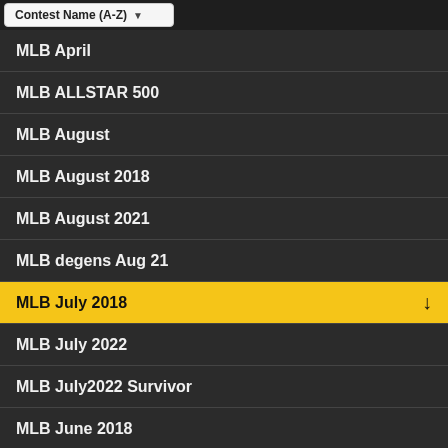Contest Name (A-Z)
MLB April
MLB ALLSTAR 500
MLB August
MLB August 2018
MLB August 2021
MLB degens Aug 21
MLB July 2018
MLB July 2022
MLB July2022 Survivor
MLB June 2018
MLB May 2018